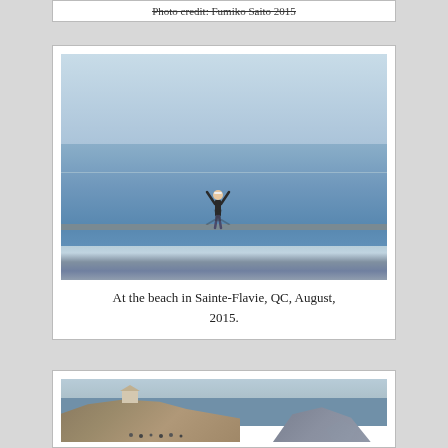Photo credit: Fumiko Saito 2015
[Figure (photo): Person standing on a pier or breakwater at a beach in Sainte-Flavie, QC, with arms raised, reflected in calm water. Wide expanse of blue water and sky.]
At the beach in Sainte-Flavie, QC, August, 2015.
[Figure (photo): Coastal cliff landscape with rocky headlands and sea stacks visible in the background, likely Percé Rock area in Quebec.]